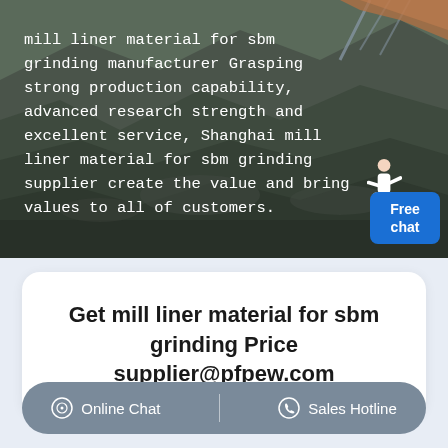[Figure (photo): Aerial view of a mining quarry/open pit mine with dark rock and conveyor structures. White text overlay describes mill liner material for sbm grinding manufacturer. A Free chat button appears bottom right with a person illustration.]
mill liner material for sbm grinding manufacturer Grasping strong production capability, advanced research strength and excellent service, Shanghai mill liner material for sbm grinding supplier create the value and bring values to all of customers.
Get mill liner material for sbm grinding Price supplier@pfpew.com
Online Chat | Sales Hotline